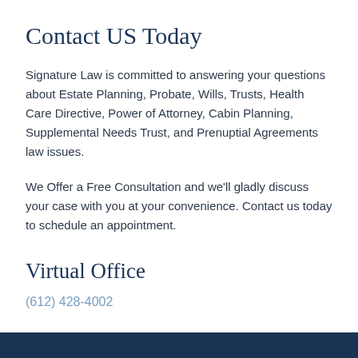Contact US Today
Signature Law is committed to answering your questions about Estate Planning, Probate, Wills, Trusts, Health Care Directive, Power of Attorney, Cabin Planning, Supplemental Needs Trust, and Prenuptial Agreements law issues.
We Offer a Free Consultation and we'll gladly discuss your case with you at your convenience. Contact us today to schedule an appointment.
Virtual Office
(612) 428-4002